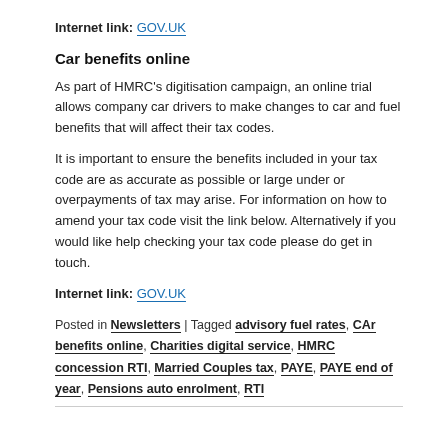Internet link: GOV.UK
Car benefits online
As part of HMRC's digitisation campaign, an online trial allows company car drivers to make changes to car and fuel benefits that will affect their tax codes.
It is important to ensure the benefits included in your tax code are as accurate as possible or large under or overpayments of tax may arise. For information on how to amend your tax code visit the link below. Alternatively if you would like help checking your tax code please do get in touch.
Internet link: GOV.UK
Posted in Newsletters | Tagged advisory fuel rates, CAr benefits online, Charities digital service, HMRC concession RTI, Married Couples tax, PAYE, PAYE end of year, Pensions auto enrolment, RTI